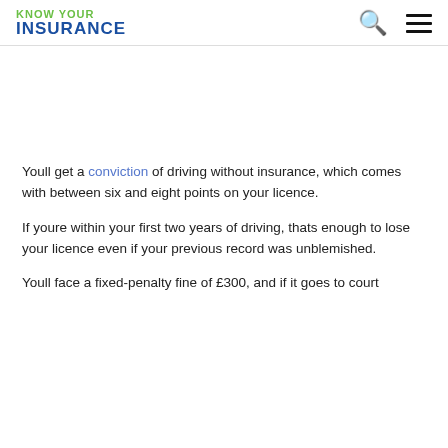KNOW YOUR INSURANCE
Youll get a conviction of driving without insurance, which comes with between six and eight points on your licence.
If youre within your first two years of driving, thats enough to lose your licence even if your previous record was unblemished.
Youll face a fixed-penalty fine of £300, and if it goes to court